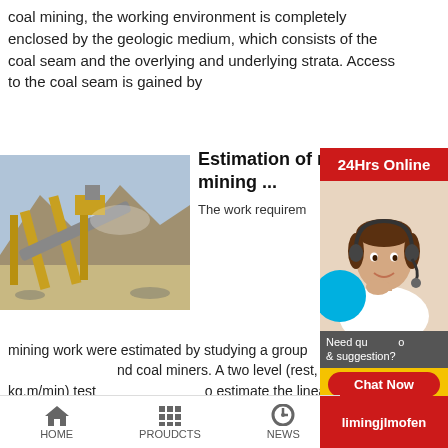coal mining, the working environment is completely enclosed by the geologic medium, which consists of the coal seam and the overlying and underlying strata. Access to the coal seam is gained by
[Figure (photo): Photo of a coal mining facility with conveyor belts and industrial equipment against a rocky hillside backdrop]
Estimation of requirements mining ...
The work requirem mining work were estimated by studying a group nd coal miners. A two level (rest, 300 kg.m/min) test o estimate the linear relationship between each su and oxygen consumption.
[Figure (infographic): Right side panel showing '24Hrs Online' service widget with a customer service agent photo, chat now button, enquiry section, and limingjlmofen branding]
HOME   PROUDCTS   NEWS   limingjlmofen